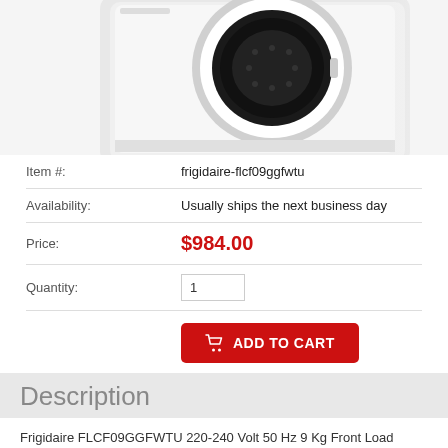[Figure (photo): Frigidaire front-load washing machine, white, viewed from an angle showing the circular door opening with black drum interior, on a white background]
| Item #: | frigidaire-flcf09ggfwtu |
| Availability: | Usually ships the next business day |
| Price: | $984.00 |
| Quantity: | 1 |
ADD TO CART
Description
Frigidaire FLCF09GGFWTU 220-240 Volt 50 Hz 9 Kg Front Load Washer